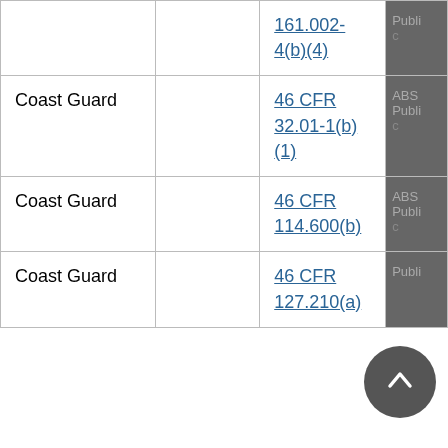|  |  | 161.002-4(b)(4) | Publi... |
| Coast Guard |  | 46 CFR 32.01-1(b)(1) | ABS Publi... |
| Coast Guard |  | 46 CFR 114.600(b) | ABS Publi... |
| Coast Guard |  | 46 CFR 127.210(a) | Publi... |